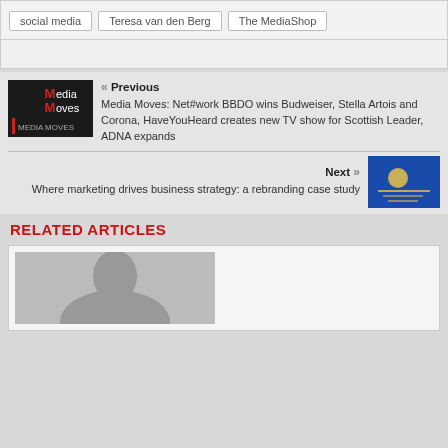social media
Teresa van den Berg
The MediaShop
« Previous
Media Moves: Net#work BBDO wins Budweiser, Stella Artois and Corona, HaveYouHeard creates new TV show for Scottish Leader, ADNA expands
Next »
Where marketing drives business strategy: a rebranding case study
RELATED ARTICLES
[Figure (photo): Person headshot photo at bottom of page]